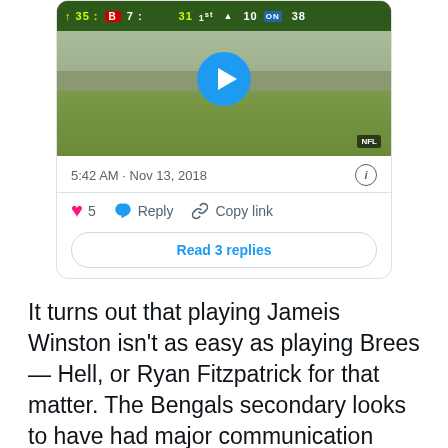[Figure (screenshot): Tweet card with NFL game video thumbnail showing scoreboard (35, 7, 31, 10, 38), play button, stadium image with NFL badge. Below video: timestamp '5:42 AM · Nov 13, 2018', info icon, heart (5 likes), Reply, Copy link actions, and 'Read 3 replies' button.]
It turns out that playing Jameis Winston isn't as easy as playing Brees — Hell, or Ryan Fitzpatrick for that matter. The Bengals secondary looks to have had major communication issues during this historically bad stretch they're on. Hopefully things get more clear for them with Marvin Lewis taking over as the de facto defensive coordinator, and Bates' play